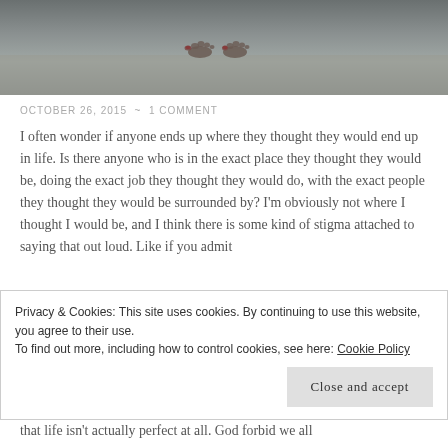[Figure (photo): Feet on a sandy beach with ocean/shore in background, dark and muted tones]
OCTOBER 26, 2015 ~ 1 COMMENT
I often wonder if anyone ends up where they thought they would end up in life. Is there anyone who is in the exact place they thought they would be, doing the exact job they thought they would do, with the exact people they thought they would be surrounded by? I'm obviously not where I thought I would be, and I think there is some kind of stigma attached to saying that out loud. Like if you admit
Privacy & Cookies: This site uses cookies. By continuing to use this website, you agree to their use.
To find out more, including how to control cookies, see here: Cookie Policy
Close and accept
that life isn't actually perfect at all. God forbid we all